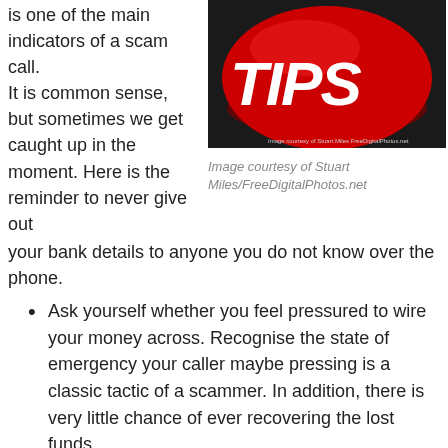is one of the main indicators of a scam call. It is common sense, but sometimes we get caught up in the moment. Here is the reminder to never give out your bank details to anyone you do not know over the phone.
[Figure (photo): Red button with white text reading TIPS, on a dark background. Small text at bottom: Image courtesy of Stuart Miles FreeDigitalPhotos.net]
Image courtesy of Stuart Miles/FreeDigitalPhotos.net
Ask yourself whether you feel pressured to wire your money across. Recognise the state of emergency your caller maybe pressing is a classic tactic of a scammer. In addition, there is very little chance of ever recovering the lost funds.
File a complaint with the appropriate supporting bodies. Eg: The FTC registers all Internet, telemarketing, identity